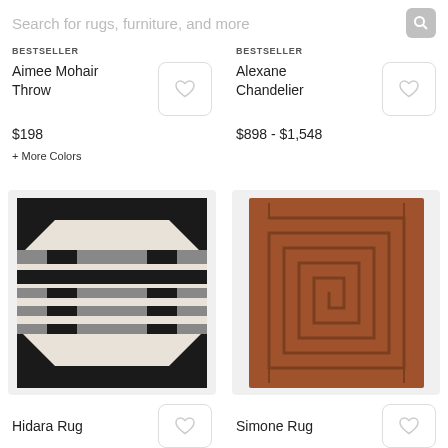Search for rugs, furniture, and more
BESTSELLER
Aimee Mohair Throw
$198
+ More Colors
BESTSELLER
Alexane Chandelier
$898 - $1,548
[Figure (photo): Hidara Rug - geometric black and cream pattern rug with grey stripe accents]
[Figure (photo): Simone Rug - terracotta brown rug with embossed labyrinth pattern]
Hidara Rug
Simone Rug